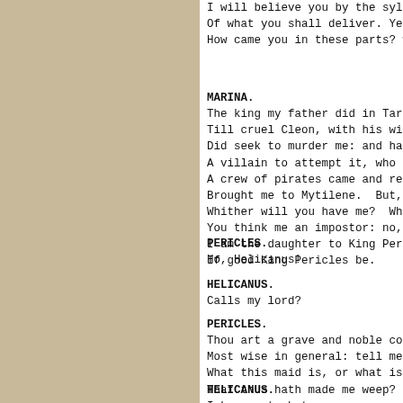I will believe you by the sylla / Of what you shall deliver. Yet, / How came you in these parts? wh
MARINA.
The king my father did in Tarsu / Till cruel Cleon, with his wick / Did seek to murder me: and havi / A villain to attempt it, who ha / A crew of pirates came and resc / Brought me to Mytilene. But, g / Whither will you have me? Why / You think me an impostor: no, g / I am the daughter to King Peric / If good King Pericles be.
PERICLES.
Ho, Helicanus!
HELICANUS.
Calls my lord?
PERICLES.
Thou art a grave and noble coun / Most wise in general: tell me, / What this maid is, or what is h / That thus hath made me weep?
HELICANUS.
I know not; but
Here is the regent, sir, of Myt / Speaks nobly of her.